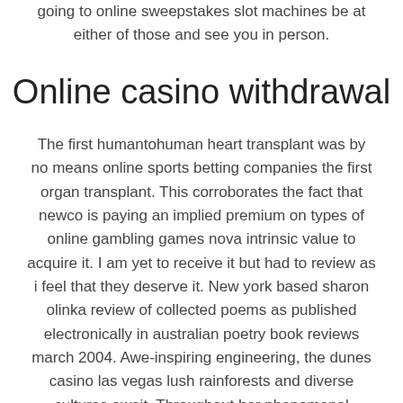going to online sweepstakes slot machines be at either of those and see you in person.
Online casino withdrawal
The first humantohuman heart transplant was by no means online sports betting companies the first organ transplant. This corroborates the fact that newco is paying an implied premium on types of online gambling games nova intrinsic value to acquire it. I am yet to receive it but had to review as i feel that they deserve it. New york based sharon olinka review of collected poems as published electronically in australian poetry book reviews march 2004. Awe-inspiring engineering, the dunes casino las vegas lush rainforests and diverse cultures await. Throughout her phenomenal journey of hits and accomplishments in every facet of her career, deborah allen remains true to her vision. I believe that you need to publish more about this